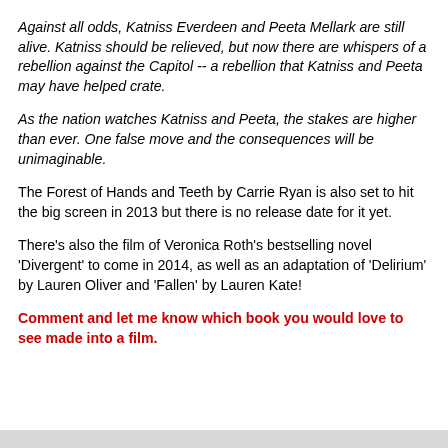Against all odds, Katniss Everdeen and Peeta Mellark are still alive. Katniss should be relieved, but now there are whispers of a rebellion against the Capitol -- a rebellion that Katniss and Peeta may have helped crate.
As the nation watches Katniss and Peeta, the stakes are higher than ever. One false move and the consequences will be unimaginable.
The Forest of Hands and Teeth by Carrie Ryan is also set to hit the big screen in 2013 but there is no release date for it yet.
There's also the film of Veronica Roth's bestselling novel 'Divergent' to come in 2014, as well as an adaptation of 'Delirium' by Lauren Oliver and 'Fallen' by Lauren Kate!
Comment and let me know which book you would love to see made into a film.